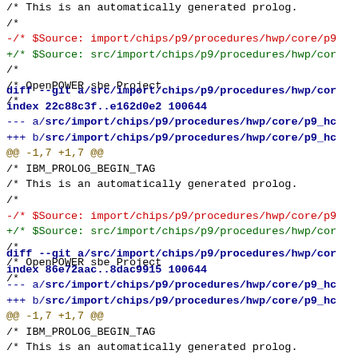/* This is an automatically generated prolog.
 /*
-/* $Source: import/chips/p9/procedures/hwp/core/p9
+/* $Source: src/import/chips/p9/procedures/hwp/cor
 /*
 /* OpenPOWER sbe Project
 /*
diff --git a/src/import/chips/p9/procedures/hwp/cor
index 22c88c3f..e162d0e2 100644
--- a/src/import/chips/p9/procedures/hwp/core/p9_hc
+++ b/src/import/chips/p9/procedures/hwp/core/p9_hc
@@ -1,7 +1,7 @@
 /* IBM_PROLOG_BEGIN_TAG
 /* This is an automatically generated prolog.
 /*
-/* $Source: import/chips/p9/procedures/hwp/core/p9
+/* $Source: src/import/chips/p9/procedures/hwp/cor
 /*
 /* OpenPOWER sbe Project
 /*
diff --git a/src/import/chips/p9/procedures/hwp/cor
index 86e72aac..8dac9915 100644
--- a/src/import/chips/p9/procedures/hwp/core/p9_hc
+++ b/src/import/chips/p9/procedures/hwp/core/p9_hc
@@ -1,7 +1,7 @@
 /* IBM_PROLOG_BEGIN_TAG
 /* This is an automatically generated prolog.
 /*
-/* $Source: import/chips/p9/procedures/hwp/cor